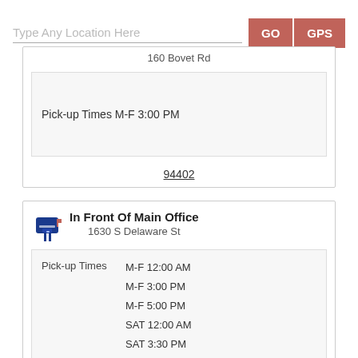Type Any Location Here
GO
GPS
160 Bovet Rd
Pick-up Times M-F 3:00 PM
94402
In Front Of Main Office
1630 S Delaware St
Pick-up Times  M-F 12:00 AM
M-F 3:00 PM
M-F 5:00 PM
SAT 12:00 AM
SAT 3:30 PM
SAT 5:00 PM